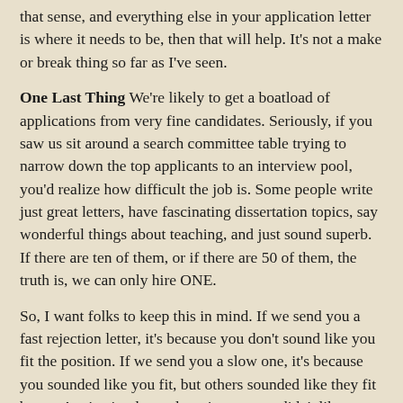that sense, and everything else in your application letter is where it needs to be, then that will help. It's not a make or break thing so far as I've seen.
One Last Thing We're likely to get a boatload of applications from very fine candidates. Seriously, if you saw us sit around a search committee table trying to narrow down the top applicants to an interview pool, you'd realize how difficult the job is. Some people write just great letters, have fascinating dissertation topics, say wonderful things about teaching, and just sound superb. If there are ten of them, or if there are 50 of them, the truth is, we can only hire ONE.
So, I want folks to keep this in mind. If we send you a fast rejection letter, it's because you don't sound like you fit the position. If we send you a slow one, it's because you sounded like you fit, but others sounded like they fit better. A rejection letter doesn't mean we didn't like you or didn't think you're smart; it means we aren't hiring you.
We regret that we can't hire more than one person. We see